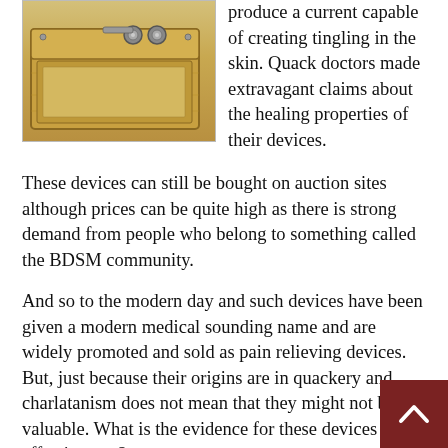[Figure (photo): Photo of a vintage wooden electrical device with metal terminals/electrodes on top, likely a quack medical galvanic device, shown against a white background.]
produce a current capable of creating tingling in the skin. Quack doctors made extravagant claims about the healing properties of their devices.
These devices can still be bought on auction sites although prices can be quite high as there is strong demand from people who belong to something called the BDSM community.
And so to the modern day and such devices have been given a modern medical sounding name and are widely promoted and sold as pain relieving devices. But, just because their origins are in quackery and charlatanism does not mean that they might not be valuable. What is the evidence for these devices effectiveness?
The Cochrane Collaboration, a group of independent, volunteer researchers, has conducted a review of the available evidence. It is quite interesting reading. They looked over 19